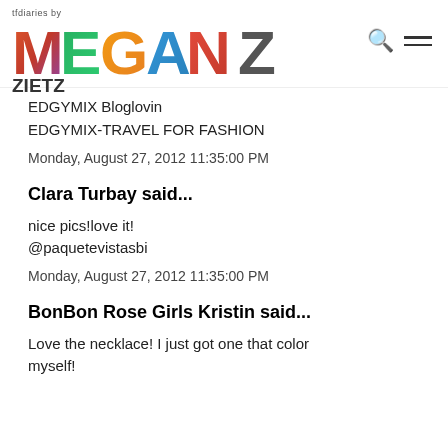tfdiaries by MEGAN ZIETZ
EDGYMIX Bloglovin
EDGYMIX-TRAVEL FOR FASHION
Monday, August 27, 2012 11:35:00 PM
Clara Turbay said...
nice pics!love it!
@paquetevistasbi
Monday, August 27, 2012 11:35:00 PM
BonBon Rose Girls Kristin said...
Love the necklace! I just got one that color myself!